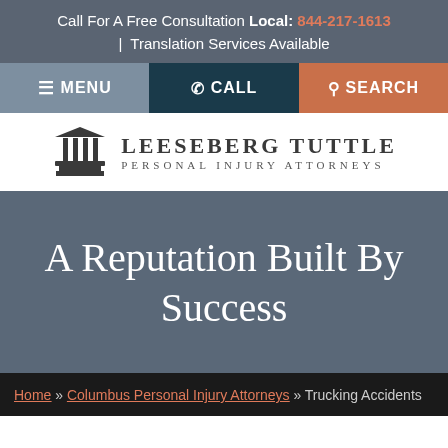Call For A Free Consultation Local: 844-217-1613 | Translation Services Available
[Figure (screenshot): Navigation bar with three buttons: MENU (grey/blue), CALL (dark navy), SEARCH (orange/coral)]
[Figure (logo): Leeseberg Tuttle Personal Injury Attorneys logo with courthouse columns icon]
A Reputation Built By Success
Home » Columbus Personal Injury Attorneys » Trucking Accidents